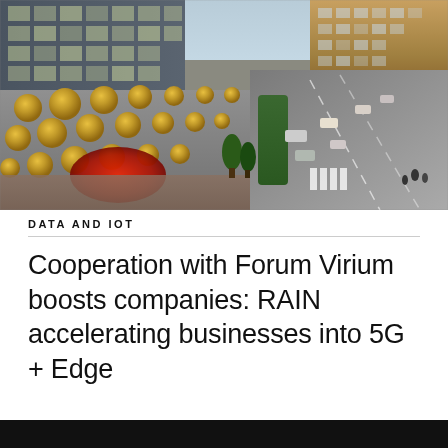[Figure (photo): Aerial/elevated view of a modern urban development featuring a building with a distinctive perforated facade with circular gold/yellow openings, a red-lit entrance area, surrounding streets with vehicles and crosswalks, trees and green areas, and tall glass office buildings in the background.]
DATA AND IOT
Cooperation with Forum Virium boosts companies: RAIN accelerating businesses into 5G + Edge